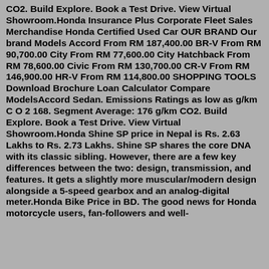CO2. Build Explore. Book a Test Drive. View Virtual Showroom.Honda Insurance Plus Corporate Fleet Sales Merchandise Honda Certified Used Car OUR BRAND Our brand Models Accord From RM 187,400.00 BR-V From RM 90,700.00 City From RM 77,600.00 City Hatchback From RM 78,600.00 Civic From RM 130,700.00 CR-V From RM 146,900.00 HR-V From RM 114,800.00 SHOPPING TOOLS Download Brochure Loan Calculator Compare ModelsAccord Sedan. Emissions Ratings as low as g/km C O 2 168. Segment Average: 176 g/km CO2. Build Explore. Book a Test Drive. View Virtual Showroom.Honda Shine SP price in Nepal is Rs. 2.63 Lakhs to Rs. 2.73 Lakhs. Shine SP shares the core DNA with its classic sibling. However, there are a few key differences between the two: design, transmission, and features. It gets a slightly more muscular/modern design alongside a 5-speed gearbox and an analog-digital meter.Honda Bike Price in BD. The good news for Honda motorcycle users, fan-followers and well-